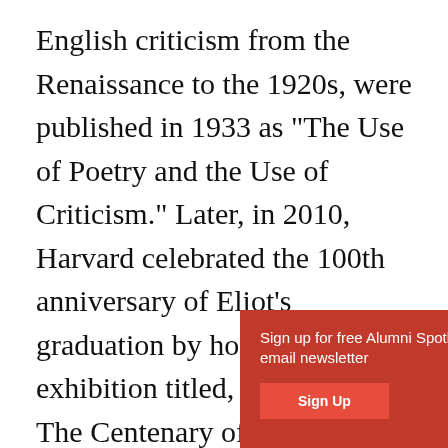English criticism from the Renaissance to the 1920s, were published in 1933 as "The Use of Poetry and the Use of Criticism." Later, in 2010, Harvard celebrated the 100th anniversary of Eliot's graduation by hosting an exhibition titled, "Class Notes: The Centenary of T.S. Eliot at Harvard 1910–2010." Leslie Morris, curator of modern books & manuscripts at Harvard's Houghton library, said, "Eliot as the great Harvard poet... he who we've always collected in great depth." Additionally, Harvard has made an extensive collection of Eliot's personal letters, manuscripts, photos, and recordings. This includes a priceless early copy
[Figure (other): Red overlay popup box with text 'Sign up for free Alumni Spotlight email newsletter' and a red 'Sign Up' button]